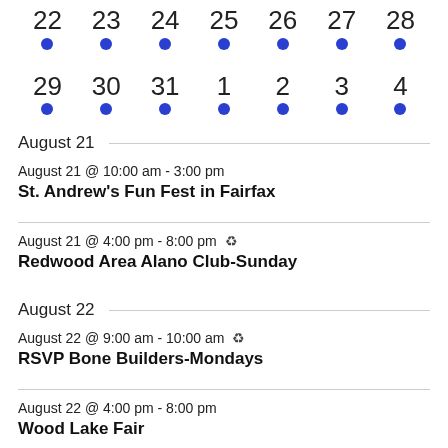[Figure (other): Calendar row showing days 22-28 with blue dot indicators]
[Figure (other): Calendar row showing days 29-4 with blue dot indicators]
August 21
August 21 @ 10:00 am - 3:00 pm
St. Andrew's Fun Fest in Fairfax
August 21 @ 4:00 pm - 8:00 pm ↻
Redwood Area Alano Club-Sunday
August 22
August 22 @ 9:00 am - 10:00 am ↻
RSVP Bone Builders-Mondays
August 22 @ 4:00 pm - 8:00 pm
Wood Lake Fair
August 23